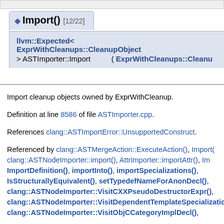Import() [12/22]
llvm::Expected< ExprWithCleanups::CleanupObject > ASTImporter::Import ( ExprWithCleanups::Cleanu
Import cleanup objects owned by ExprWithCleanup.
Definition at line 8586 of file ASTImporter.cpp.
References clang::ASTImportError::UnsupportedConstruct.
Referenced by clang::ASTMergeAction::ExecuteAction(), Import(), clang::ASTNodeImporter::import(), AttrImporter::importAttr(), ImportDefinition(), importInto(), importSpecializations(), IsStructurallyEquivalent(), setTypedefNameForAnonDecl(), clang::ASTNodeImporter::VisitCXXPseudoDestructorExpr(), clang::ASTNodeImporter::VisitDependentTemplateSpecializatio, clang::ASTNodeImporter::VisitObjCCategoryImplDecl(),